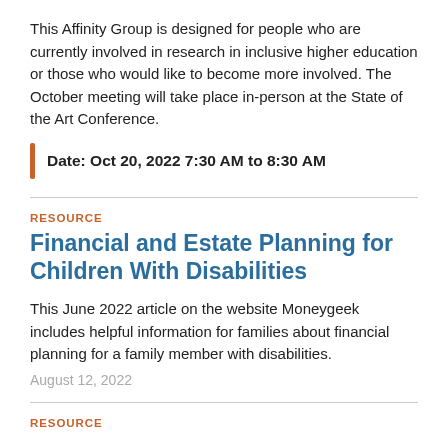This Affinity Group is designed for people who are currently involved in research in inclusive higher education or those who would like to become more involved. The October meeting will take place in-person at the State of the Art Conference.
Date: Oct 20, 2022 7:30 AM to 8:30 AM
RESOURCE
Financial and Estate Planning for Children With Disabilities
This June 2022 article on the website Moneygeek includes helpful information for families about financial planning for a family member with disabilities.
August 12, 2022
RESOURCE